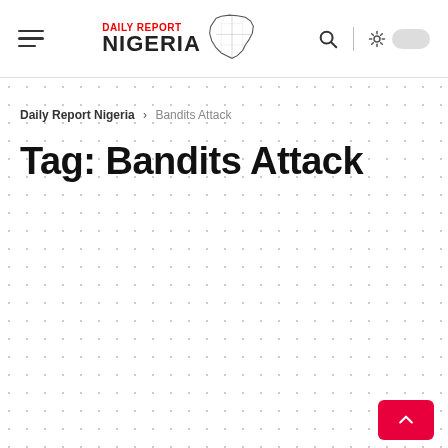Daily Report Nigeria — navigation header with logo, search icon, and theme toggle
Daily Report Nigeria > Bandits Attack
Tag: Bandits Attack